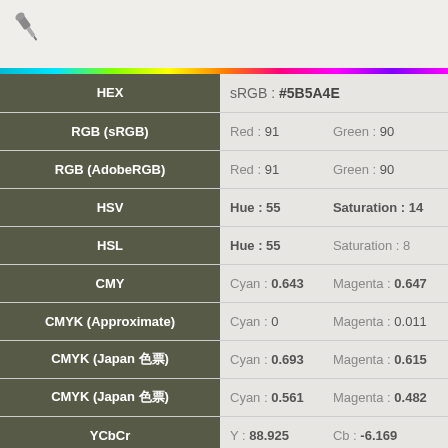[Figure (other): Pin/thumbtack icon in top-left corner]
[Figure (other): Rainbow spectrum gradient bar]
| Color Model | Value 1 | Value 2 |
| --- | --- | --- |
| HEX | sRGB : #5B5A4E |  |
| RGB (sRGB) | Red : 91 | Green : 90 |
| RGB (AdobeRGB) | Red : 91 | Green : 90 |
| HSV | Hue : 55 | Saturation : 14 |
| HSL | Hue : 55 | Saturation : 8 |
| CMY | Cyan : 0.643 | Magenta : 0.647 |
| CMYK (Approximate) | Cyan : 0 | Magenta : 0.011 |
| CMYK (Japan 色票) | Cyan : 0.693 | Magenta : 0.615 |
| CMYK (Japan 色票) | Cyan : 0.561 | Magenta : 0.482 |
| YCbCr | Y : 88.925 | Cb : -6.169 |